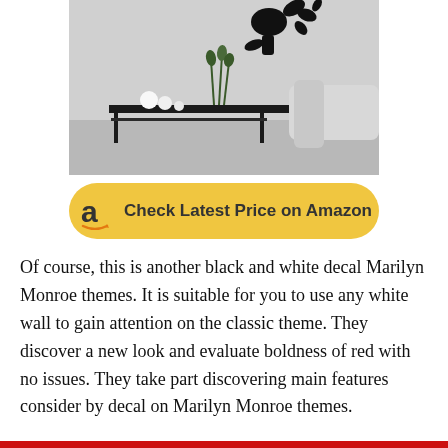[Figure (photo): A modern living room scene showing a sleek black console table with round white decorative lamps, green stems/flowers in a vase, and a white chair/sofa. On the wall above is a black vinyl decal depicting a Marilyn Monroe-style silhouette with floral elements. The room has gray flooring and a contemporary aesthetic.]
[Figure (infographic): Amazon button: yellow rounded rectangle with Amazon 'a' logo and text 'Check Latest Price on Amazon']
Of course, this is another black and white decal Marilyn Monroe themes. It is suitable for you to use any white wall to gain attention on the classic theme. They discover a new look and evaluate boldness of red with no issues. They take part discovering main features consider by decal on Marilyn Monroe themes.